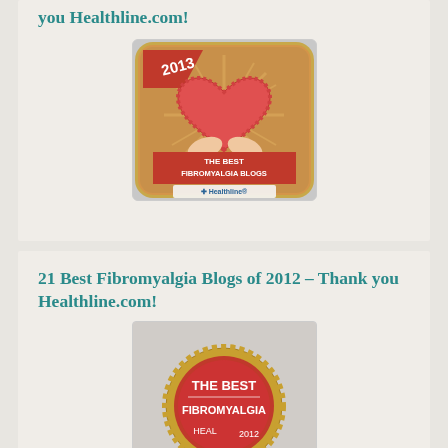you Healthline.com!
[Figure (illustration): 2013 The Best Fibromyalgia Blogs badge from Healthline.com - red rounded square badge with a heart held by hands and sunburst rays]
21 Best Fibromyalgia Blogs of 2012 – Thank you Healthline.com!
[Figure (illustration): 2012 The Best Fibromyalgia badge from Healthline - red circular seal/medal with gold serrated edge]